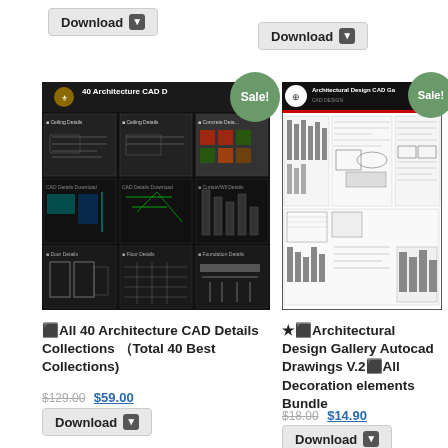[Figure (other): Download button top-left]
[Figure (other): Download button top-right]
[Figure (screenshot): 40 Architecture CAD Details Collections product image with Sale badge]
[Figure (screenshot): Architectural Design CAD Gallery product image with Sale badge]
⬛All 40 Architecture CAD Details Collections （Total 40 Best Collections)
$129.00 $59.00
[Figure (other): Download button bottom-left]
★⬛Architectural Design Gallery Autocad Drawings V.2⬛All Decoration elements Bundle
$18.00 $14.90
[Figure (other): Download button bottom-right (partially visible)]